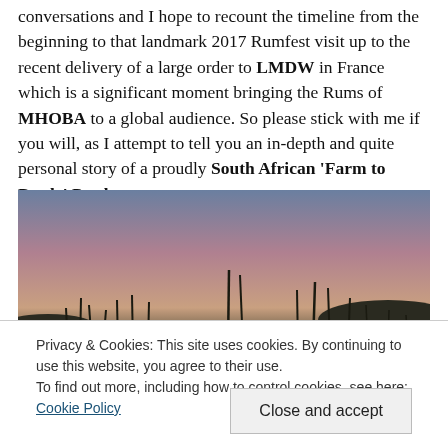conversations and I hope to recount the timeline from the beginning to that landmark 2017 Rumfest visit up to the recent delivery of a large order to LMDW in France which is a significant moment bringing the Rums of MHOBA to a global audience. So please stick with me if you will, as I attempt to tell you an in-depth and quite personal story of a proudly South African 'Farm to Bottle' Producer.
[Figure (photo): Sunset or dusk landscape photo showing silhouettes of tall grass or cane stalks against a pinkish-purple sky with low hills in the background.]
Privacy & Cookies: This site uses cookies. By continuing to use this website, you agree to their use.
To find out more, including how to control cookies, see here: Cookie Policy
Close and accept